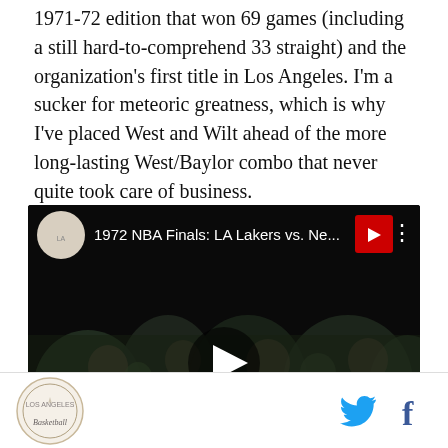1971-72 edition that won 69 games (including a still hard-to-comprehend 33 straight) and the organization's first title in Los Angeles. I'm a sucker for meteoric greatness, which is why I've placed West and Wilt ahead of the more long-lasting West/Baylor combo that never quite took care of business.
[Figure (screenshot): YouTube video embed showing 1972 NBA Finals: LA Lakers vs. Ne... with a crowd scene in the background and a play button in the center]
Los Angeles logo icon | Twitter icon | Facebook icon